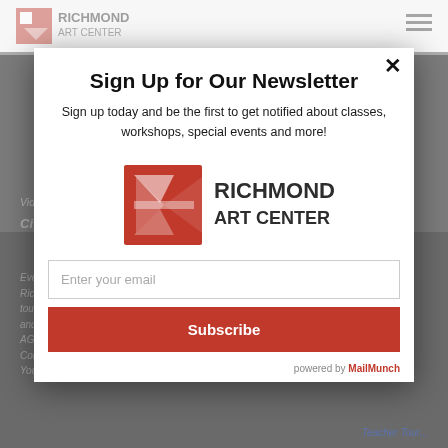[Figure (screenshot): Richmond Art Center website page with newsletter sign-up modal overlay. Background shows the Richmond Art Center website with logo, hamburger menu, and dimmed article content about a video tour of Civic Center public art. The foreground modal contains the newsletter sign-up form with logo, email input, and subscribe button.]
Sign Up for Our Newsletter
Sign up today and be the first to get notified about classes, workshops, special events and more!
Enter your email
Subscribe
powered by MailMunch